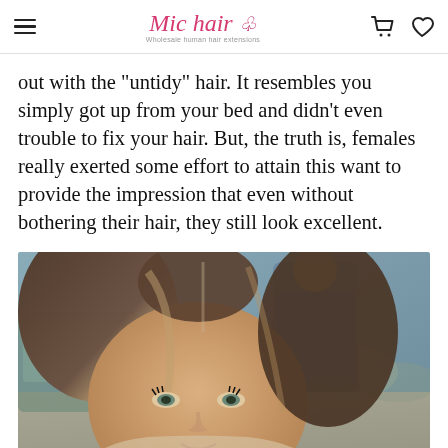Mic hair — Wholesale human hair extensions
out with the "untidy" hair. It resembles you simply got up from your bed and didn't even trouble to fix your hair. But, the truth is, females really exerted some effort to attain this want to provide the impression that even without bothering their hair, they still look excellent.
[Figure (photo): A woman with long brunette hair with highlights, looking at the camera, outdoors with a blurred background showing another person in a denim jacket.]